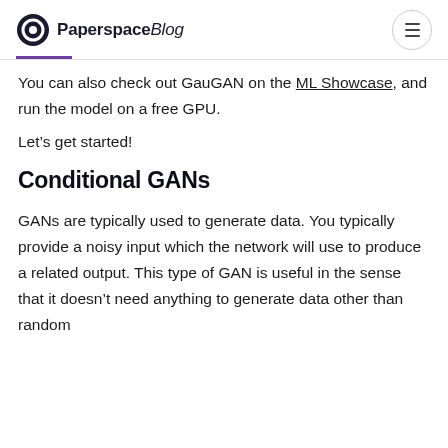PaperspaceBlog
You can also check out GauGAN on the ML Showcase, and run the model on a free GPU.
Let’s get started!
Conditional GANs
GANs are typically used to generate data. You typically provide a noisy input which the network will use to produce a related output. This type of GAN is useful in the sense that it doesn’t need anything to generate data other than random